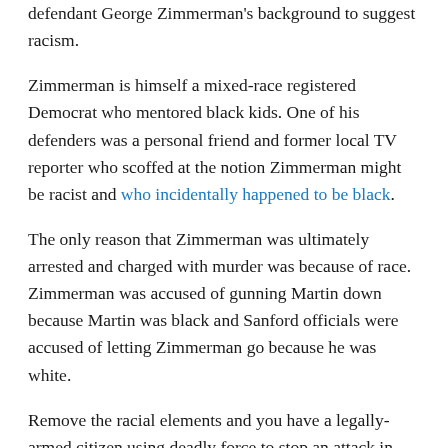defendant George Zimmerman's background to suggest racism.
Zimmerman is himself a mixed-race registered Democrat who mentored black kids. One of his defenders was a personal friend and former local TV reporter who scoffed at the notion Zimmerman might be racist and who incidentally happened to be black.
The only reason that Zimmerman was ultimately arrested and charged with murder was because of race. Zimmerman was accused of gunning Martin down because Martin was black and Sanford officials were accused of letting Zimmerman go because he was white.
Remove the racial elements and you have a legally-armed citizen using deadly force to stop an attack in which Zimmerman was clearly injured by Trayvon Martin. His use